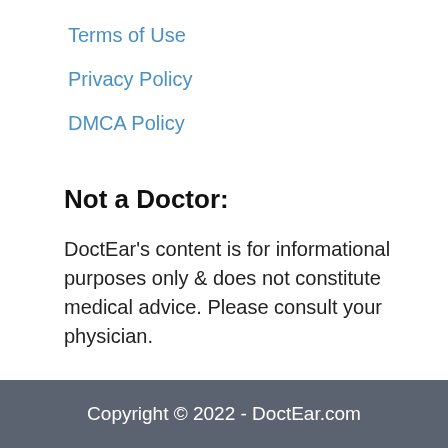Terms of Use
Privacy Policy
DMCA Policy
Not a Doctor:
DoctEar’s content is for informational purposes only & does not constitute medical advice. Please consult your physician.
As an Amazon Associates Program member this website earns from qualifying purchases.
Copyright © 2022 - DoctEar.com